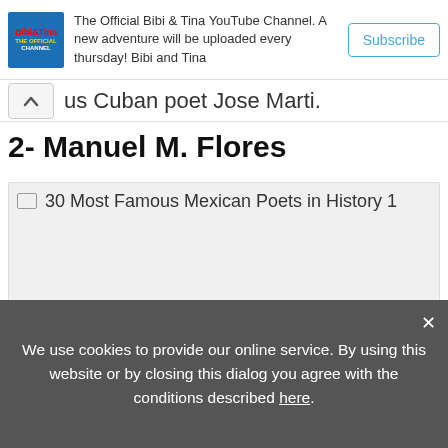[Figure (other): Bibi and Tina YouTube channel advertisement banner with logo, description text, and subscribe button]
us Cuban poet Jose Marti.
2- Manuel M. Flores
[Figure (photo): 30 Most Famous Mexican Poets in History 1 - broken/loading image placeholder]
We use cookies to provide our online service. By using this website or by closing this dialog you agree with the conditions described here.